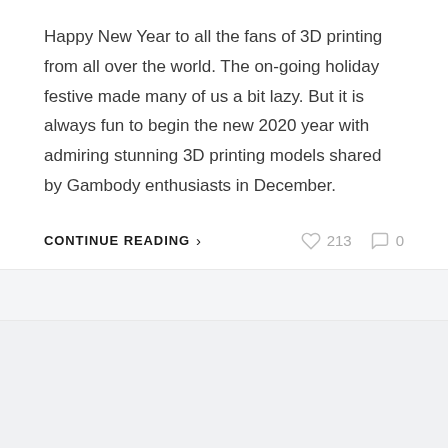Happy New Year to all the fans of 3D printing from all over the world. The on-going holiday festive made many of us a bit lazy. But it is always fun to begin the new 2020 year with admiring stunning 3D printing models shared by Gambody enthusiasts in December.
CONTINUE READING > ♡ 213 ○ 0